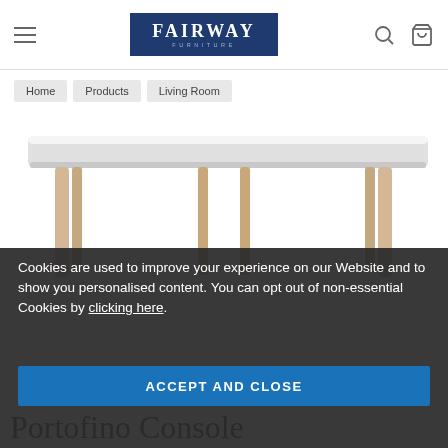FAIRWAY FURNITURE — navigation bar with hamburger menu, logo, search and bag icons
Home
Products
Living Room
[Figure (photo): A modern Scandinavian-style console table with a light grey rectangular top and natural wood/beige legs, shown from a slightly elevated front angle on a white background.]
Cookies are used to improve your experience on our Website and to show you personalised content. You can opt out of non-essential Cookies by clicking here.
ACCEPT AND CLOSE
Portofino Console